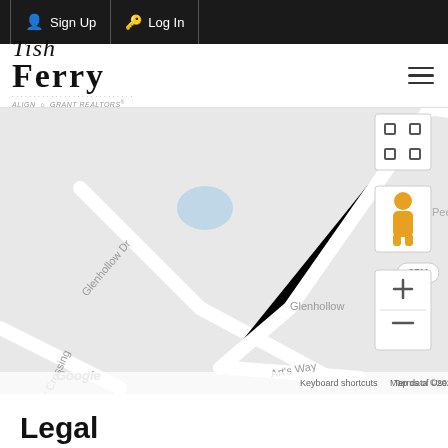Sign Up | Log In
[Figure (logo): Tish Ferry logo with ALIGN Grant Realtors branding]
[Figure (map): Google Maps view showing Glenhollow Dr, Miner's Way, Art's Way, and lor Crossing roads. A label '35K' is shown on Glenhollow road. Map data ©2022.]
Legal